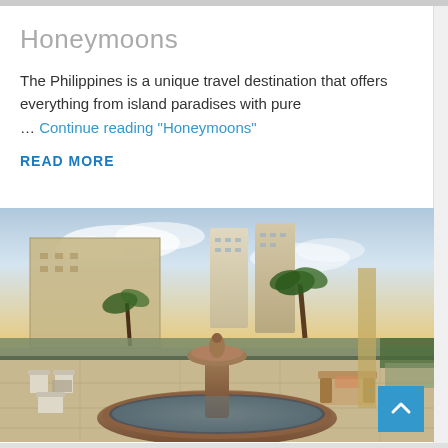Honeymoons
The Philippines is a unique travel destination that offers everything from island paradises with pure ... Continue reading “Honeymoons”
READ MORE
[Figure (photo): Rooftop terrace with a large stone circular fountain in the foreground, outdoor seating with white chairs and tables, tropical palm trees, and tall modern skyscrapers in the background at dusk/golden hour.]